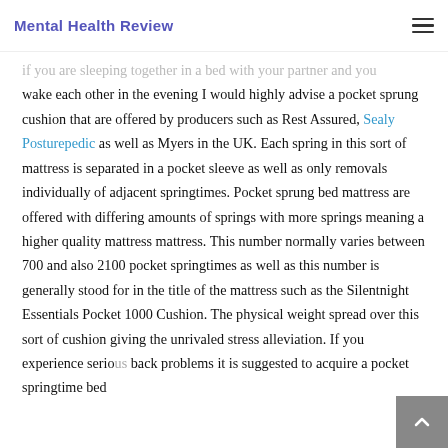Mental Health Review
if you are sleeping together in a bed with your partner and you wake each other in the evening I would highly advise a pocket sprung cushion that are offered by producers such as Rest Assured, Sealy Posturepedic as well as Myers in the UK. Each spring in this sort of mattress is separated in a pocket sleeve as well as only removals individually of adjacent springtimes. Pocket sprung bed mattress are offered with differing amounts of springs with more springs meaning a higher quality mattress mattress. This number normally varies between 700 and also 2100 pocket springtimes as well as this number is generally stood for in the title of the mattress such as the Silentnight Essentials Pocket 1000 Cushion. The physical weight spread over this sort of cushion giving the unrivaled stress alleviation. If you experience serious back problems it is suggested to acquire a pocket springtime bed